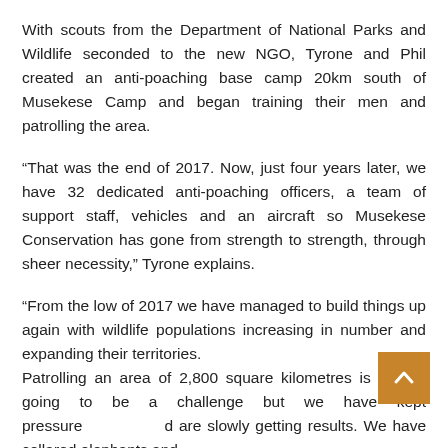With scouts from the Department of National Parks and Wildlife seconded to the new NGO, Tyrone and Phil created an anti-poaching base camp 20km south of Musekese Camp and began training their men and patrolling the area.
“That was the end of 2017. Now, just four years later, we have 32 dedicated anti-poaching officers, a team of support staff, vehicles and an aircraft so Musekese Conservation has gone from strength to strength, through sheer necessity,” Tyrone explains.
“From the low of 2017 we have managed to build things up again with wildlife populations increasing in number and expanding their territories.
Patrolling an area of 2,800 square kilometres is always going to be a challenge but we have kept pressure and are slowly getting results. We have collared elephants and